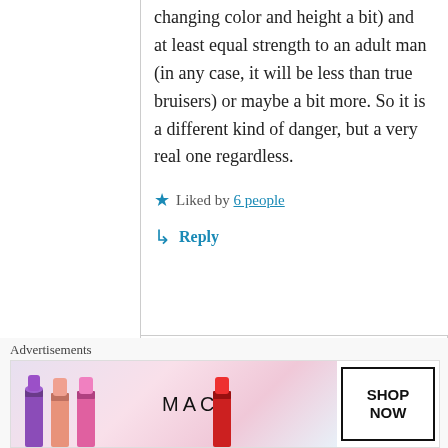changing color and height a bit) and at least equal strength to an adult man (in any case, it will be less than true bruisers) or maybe a bit more. So it is a different kind of danger, but a very real one regardless.
★ Liked by 6 people
↳ Reply
[Figure (screenshot): Comment box area with pencil icon at the bottom]
[Figure (photo): MAC Cosmetics advertisement banner showing lipsticks in purple, pink, and red with MAC logo and SHOP NOW button]
Advertisements